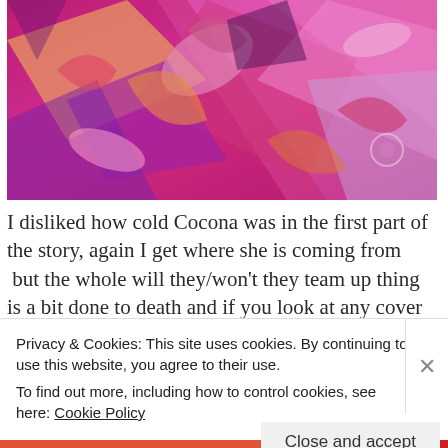[Figure (illustration): Abstract colorful illustration with pink, magenta, purple, and orange geometric and organic shapes]
I disliked how cold Cocona was in the first part of the story, again I get where she is coming from  but the whole will they/won't they team up thing is a bit done to death and if you look at any cover art for this series.. which I am pretty sure you can't escape from doing.. you will know exactly what the answer to that question is. I get her personality is uptight and I do get why she is annoved at Papika it makes
Privacy & Cookies: This site uses cookies. By continuing to use this website, you agree to their use.
To find out more, including how to control cookies, see here: Cookie Policy
Close and accept